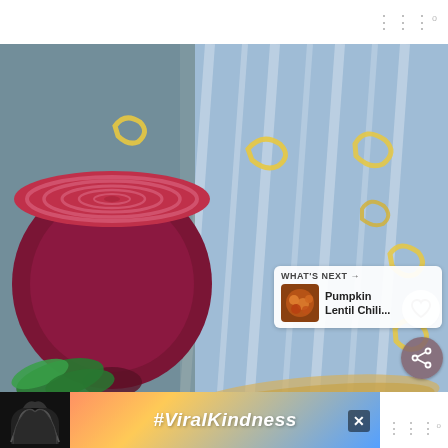[Figure (photo): Overhead shot of a bowl of chili macaroni soup with kidney beans, corn, tomatoes, and pasta, garnished with fresh herbs and sliced red onion. A halved red onion and scattered pasta pieces are visible on a blue-striped textile in the background.]
[Figure (infographic): What's Next panel showing a thumbnail of Pumpkin Lentil Chili with text 'WHAT'S NEXT → Pumpkin Lentil Chili...']
[Figure (infographic): Advertisement banner with hands forming a heart shape and text '#ViralKindness' on a colorful gradient background.]